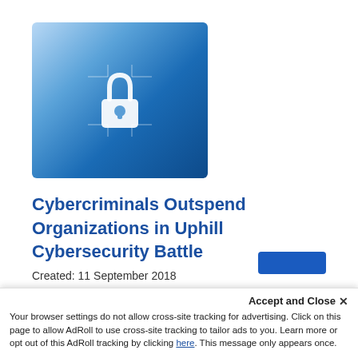[Figure (photo): Cybersecurity themed image with a padlock icon on a blue digital circuit board background]
Cybercriminals Outspend Organizations in Uphill Cybersecurity Battle
Created: 11 September 2018
The latest research from Carbon Black claims that the cyber-criminal community spends over $1T per year on developing new attack methods, compared to the $96B spent by organizations per year to protect themselves from attacks
Accept and Close ✕
Your browser settings do not allow cross-site tracking for advertising. Click on this page to allow AdRoll to use cross-site tracking to tailor ads to you. Learn more or opt out of this AdRoll tracking by clicking here. This message only appears once.